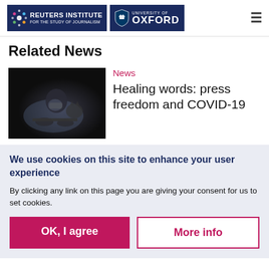Reuters Institute for the Study of Journalism | University of Oxford
Related News
[Figure (photo): Dark photo of a person wearing a mask typing on a laptop in a dark room]
News
Healing words: press freedom and COVID-19
We use cookies on this site to enhance your user experience
By clicking any link on this page you are giving your consent for us to set cookies.
OK, I agree
More info